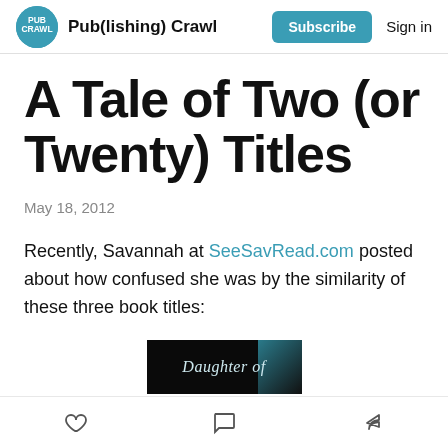Pub(lishing) Crawl — Subscribe  Sign in
A Tale of Two (or Twenty) Titles
May 18, 2012
Recently, Savannah at SeeSavRead.com posted about how confused she was by the similarity of these three book titles:
[Figure (photo): Partial book cover image showing 'Daughter of' text on dark background]
Like / Comment / Share icons